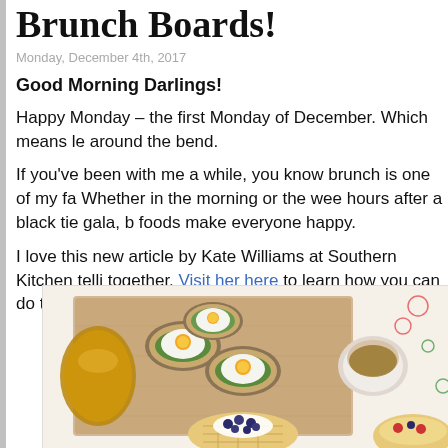Brunch Boards!
Monday, December 4th, 2017
Good Morning Darlings!
Happy Monday – the first Monday of December. Which means le around the bend.
If you've been with me a while, you know brunch is one of my fa Whether in the morning or the wee hours after a black tie gala, b foods make everyone happy.
I love this new article by Kate Williams at Southern Kitchen telli together. Visit her here to learn how you can do the same!
[Figure (photo): Overhead view of a brunch board spread with fried eggs on toast, a cup of coffee, waffles with blueberries, and a teapot on a wooden cutting board with a patterned tablecloth.]